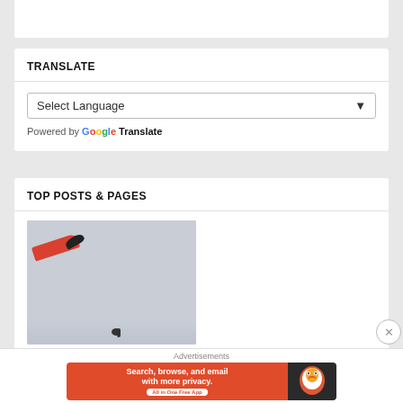TRANSLATE
[Figure (screenshot): Select Language dropdown box with a downward chevron arrow]
Powered by Google Translate
TOP POSTS & PAGES
[Figure (photo): A bird photo showing a red and black bird in flight against a light gray sky, with a small dark bird silhouette lower in the frame]
Advertisements
[Figure (screenshot): DuckDuckGo advertisement banner: orange background with text 'Search, browse, and email with more privacy. All in One Free App' and DuckDuckGo duck logo on dark background]